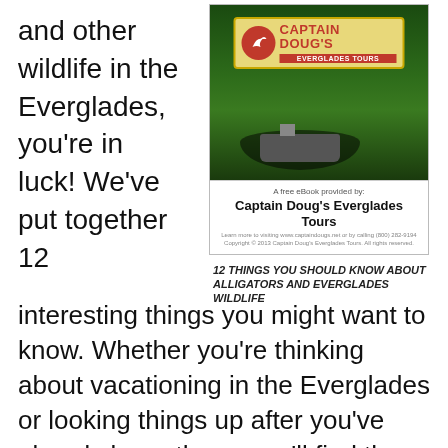and other wildlife in the Everglades, you're in luck! We've put together 12
[Figure (photo): Book cover for 'Captain Doug's Everglades Tours' free eBook titled '12 Things You Should Know About Alligators and Everglades Wildlife', showing a boat on the Everglades waterway with a red and yellow logo badge, and caption text below the image.]
interesting things you might want to know. Whether you're thinking about vacationing in the Everglades or looking things up after you've already been there, you'll find these blog posts informative: